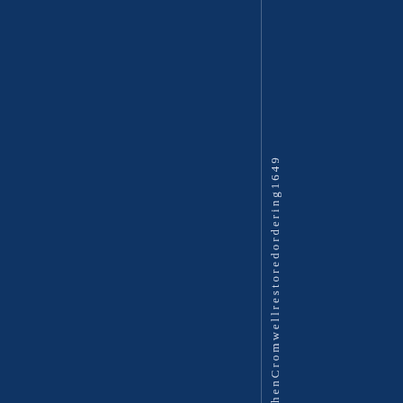henCromwellrestoredordering1649